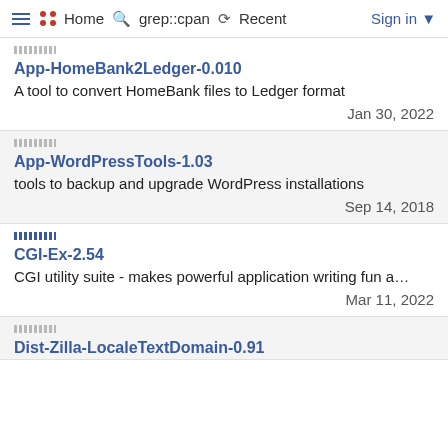≡  •• Home  🔍 grep::cpan  ↺ Recent  Sign in ▼
App-HomeBank2Ledger-0.010
A tool to convert HomeBank files to Ledger format
Jan 30, 2022
App-WordPressTools-1.03
tools to backup and upgrade WordPress installations
Sep 14, 2018
CGI-Ex-2.54
CGI utility suite - makes powerful application writing fun a…
Mar 11, 2022
Dist-Zilla-LocaleTextDomain-0.91